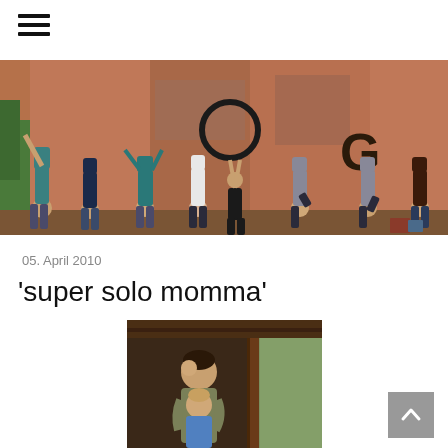[Figure (other): Hamburger menu icon with three horizontal black lines]
[Figure (photo): Group of women in yoga poses spelling out YOGA against a rustic painted wall background]
05. April 2010
'super solo momma'
[Figure (photo): A woman hugging a child indoors under a wooden roof structure]
[Figure (other): Back to top button - grey square with white upward chevron arrow]